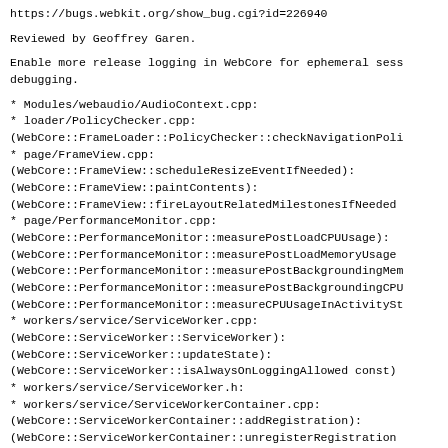https://bugs.webkit.org/show_bug.cgi?id=226940
Reviewed by Geoffrey Garen.
Enable more release logging in WebCore for ephemeral sess
debugging.
* Modules/webaudio/AudioContext.cpp:
* loader/PolicyChecker.cpp:
(WebCore::FrameLoader::PolicyChecker::checkNavigationPoli
* page/FrameView.cpp:
(WebCore::FrameView::scheduleResizeEventIfNeeded):
(WebCore::FrameView::paintContents):
(WebCore::FrameView::fireLayoutRelatedMilestonesIfNeeded
* page/PerformanceMonitor.cpp:
(WebCore::PerformanceMonitor::measurePostLoadCPUUsage):
(WebCore::PerformanceMonitor::measurePostLoadMemoryUsage
(WebCore::PerformanceMonitor::measurePostBackgroundingMem
(WebCore::PerformanceMonitor::measurePostBackgroundingCPU
(WebCore::PerformanceMonitor::measureCPUUsageInActivitySt
* workers/service/ServiceWorker.cpp:
(WebCore::ServiceWorker::ServiceWorker):
(WebCore::ServiceWorker::updateState):
(WebCore::ServiceWorker::isAlwaysOnLoggingAllowed const)
* workers/service/ServiceWorker.h:
* workers/service/ServiceWorkerContainer.cpp:
(WebCore::ServiceWorkerContainer::addRegistration):
(WebCore::ServiceWorkerContainer::unregisterRegistration
(WebCore::ServiceWorkerContainer::updateRegistration):
(WebCore::ServiceWorkerContainer::jobFailedWithException